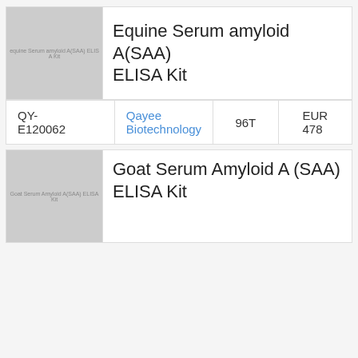[Figure (photo): Thumbnail image placeholder for Equine Serum amyloid A(SAA) ELISA Kit product]
Equine Serum amyloid A(SAA) ELISA Kit
| Catalog | Supplier | Quantity | Price |
| --- | --- | --- | --- |
| QY-E120062 | Qayee Biotechnology | 96T | EUR 478 |
[Figure (photo): Thumbnail image placeholder for Goat Serum Amyloid A (SAA) ELISA Kit product]
Goat Serum Amyloid A (SAA) ELISA Kit